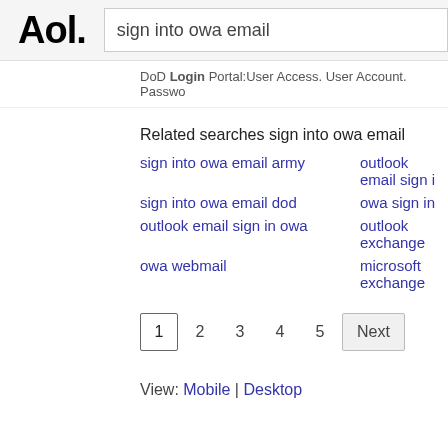Aol. | sign into owa email
DoD Login Portal:User Access. User Account. Passwo...
Related searches sign into owa email
sign into owa email army
outlook email sign i...
sign into owa email dod
owa sign in
outlook email sign in owa
outlook exchange
owa webmail
microsoft exchange
1  2  3  4  5  Next
View: Mobile | Desktop
Settings    Help    Privacy (Updated)    Terms (Updated)